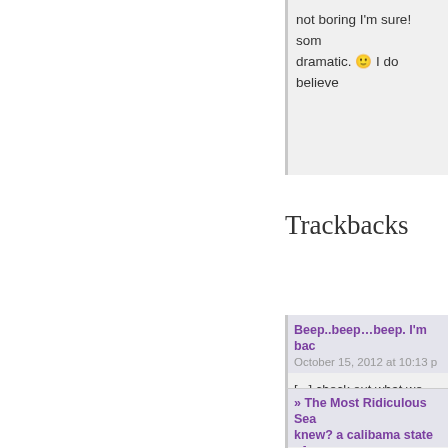not boring I'm sure! som... dramatic. 🙂 I do believe...
Trackbacks
Beep..beep...beep. I'm bac...
October 15, 2012 at 10:13 p
[...] check out what we are u... the blog hop here and here. kick-ass group of bloggers,
Reply
» The Most Ridiculous Sea... knew? a calibama state of
January 23, 2013 at 6:39 am
[...] 17. Bitch I watch CSI b...